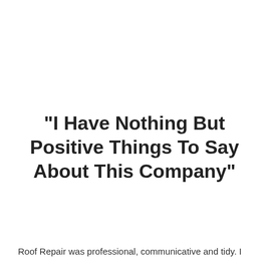"I Have Nothing But Positive Things To Say About This Company"
Roof Repair was professional, communicative and tidy. I